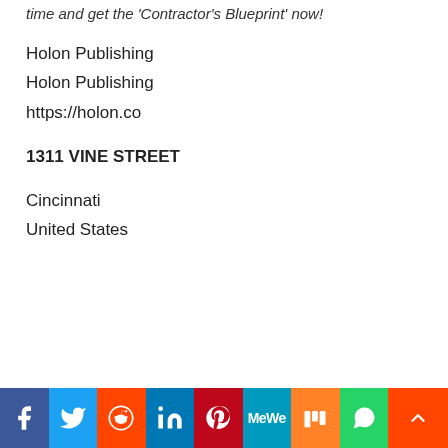time and get the 'Contractor's Blueprint' now!
Holon Publishing
Holon Publishing
https://holon.co
1311 VINE STREET
Cincinnati
United States
Facebook | Twitter | Reddit | LinkedIn | Pinterest | MeWe | Mix | WhatsApp | Scroll to top